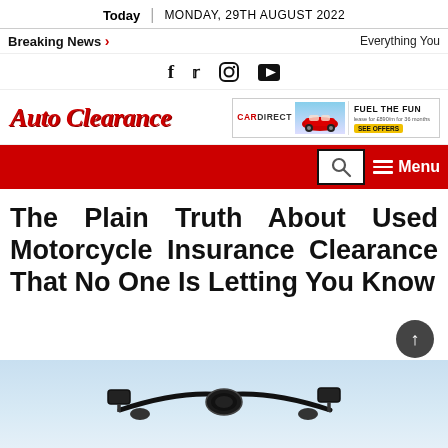Today | MONDAY, 29TH AUGUST 2022
Breaking News > ... Everything You
[Figure (other): Social media icons: Facebook, Twitter, Instagram, YouTube]
Auto Clearance
[Figure (other): Car Direct advertisement banner with red MINI car and FUEL THE FUN text]
[Figure (other): Red navigation bar with search icon box and Menu button]
The Plain Truth About Used Motorcycle Insurance Clearance That No One Is Letting You Know
[Figure (photo): Motorcycle handlebar and mirrors against sky at bottom of page]